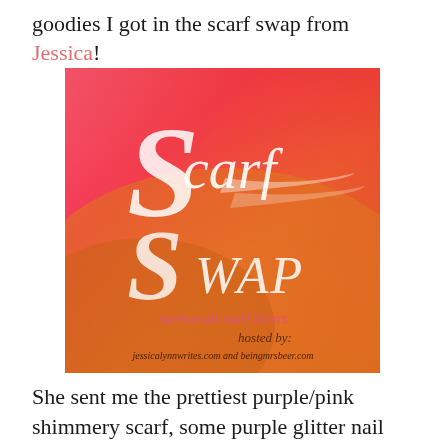goodies I got in the scarf swap from Jessica!
[Figure (illustration): Scarf Swap promotional image with pink-to-orange gradient background. Large script text reads 'Scarf Swap' in white/pink. Italic text 'open to all scarf lovers' in pink. Bottom text 'hosted by: jessicalynnwrites.com and beingmrsbeer.com']
She sent me the prettiest purple/pink shimmery scarf, some purple glitter nail polish, and a sweet